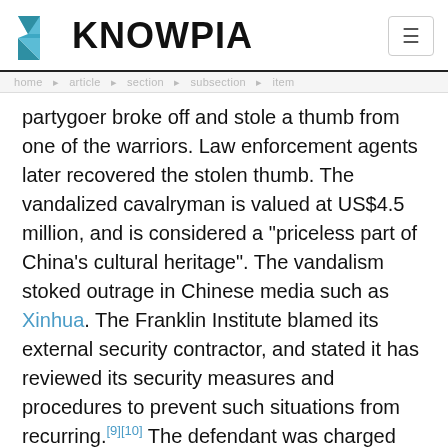KNOWPIA
partygoer broke off and stole a thumb from one of the warriors. Law enforcement agents later recovered the stolen thumb. The vandalized cavalryman is valued at US$4.5 million, and is considered a "priceless part of China's cultural heritage". The vandalism stoked outrage in Chinese media such as Xinhua. The Franklin Institute blamed its external security contractor, and stated it has reviewed its security measures and procedures to prevent such situations from recurring.[9][10] The defendant was charged both with theft, and with concealment of an item of cultural heritage. The defense argued that the defendant was being "overcharged" under statutes applicable to professional art thieves. An April 2019 trial ended in a